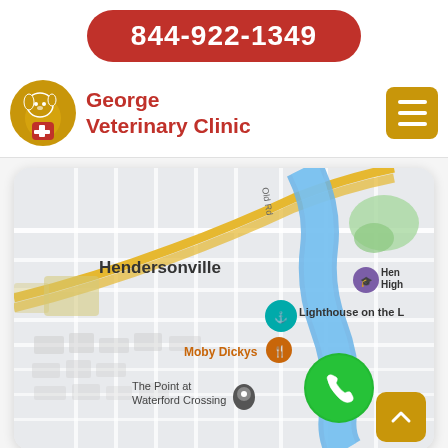844-922-1349
[Figure (logo): George Veterinary Clinic logo with dog/cat silhouette and red cross in gold shield]
George Veterinary Clinic
[Figure (map): Google Maps screenshot showing Hendersonville area with blue river, street grid, and location markers including Lighthouse on the L, Moby Dickys (restaurant pin), The Point at Waterford Crossing, and a green phone call button overlay. A school pin labeled Hen High is visible in upper right.]